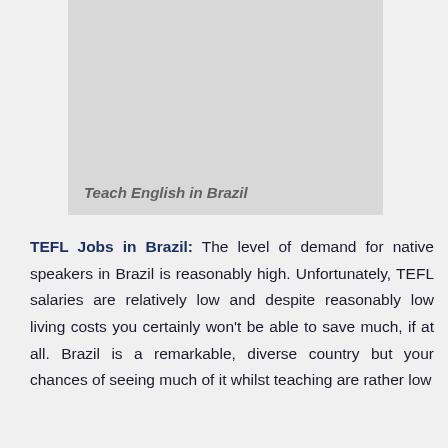[Figure (photo): Placeholder image with caption 'Teach English in Brazil' — a light grey rectangle representing a photo related to teaching English in Brazil]
Teach English in Brazil
TEFL Jobs in Brazil: The level of demand for native speakers in Brazil is reasonably high. Unfortunately, TEFL salaries are relatively low and despite reasonably low living costs you certainly won't be able to save much, if at all. Brazil is a remarkable, diverse country but your chances of seeing much of it whilst teaching are rather low